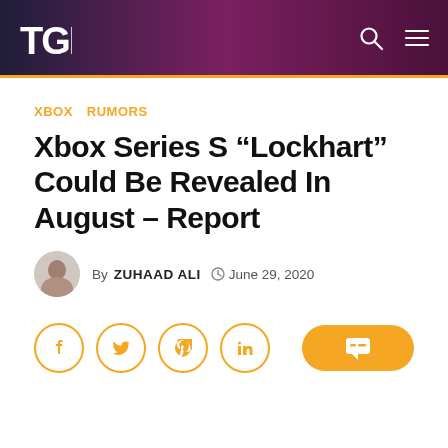TGP
XBOX  RUMORS
Xbox Series S “Lockhart” Could Be Revealed In August – Report
By ZUHAAD ALI  June 29, 2020
[Figure (other): Social sharing buttons: Facebook, Twitter, Pinterest, LinkedIn. Orange comment/chat button on right.]